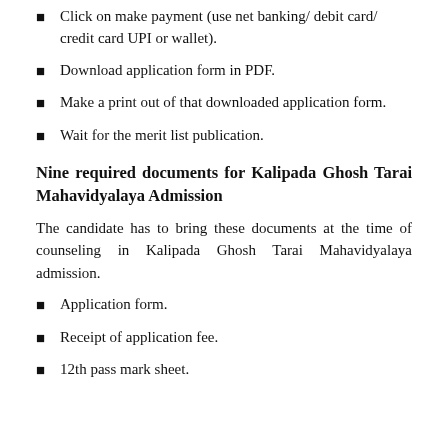Click on make payment (use net banking/ debit card/ credit card UPI or wallet).
Download application form in PDF.
Make a print out of that downloaded application form.
Wait for the merit list publication.
Nine required documents for Kalipada Ghosh Tarai Mahavidyalaya Admission
The candidate has to bring these documents at the time of counseling in Kalipada Ghosh Tarai Mahavidyalaya admission.
Application form.
Receipt of application fee.
12th pass mark sheet.